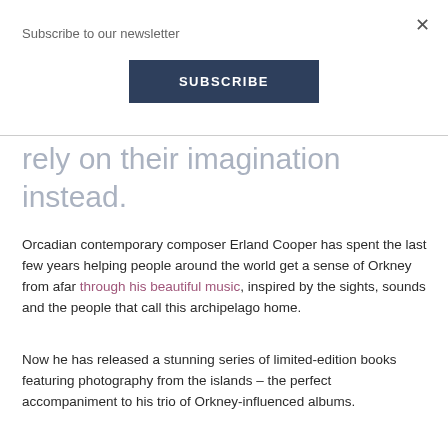Subscribe to our newsletter
SUBSCRIBE
rely on their imagination instead.
Orcadian contemporary composer Erland Cooper has spent the last few years helping people around the world get a sense of Orkney from afar through his beautiful music, inspired by the sights, sounds and the people that call this archipelago home.
Now he has released a stunning series of limited-edition books featuring photography from the islands – the perfect accompaniment to his trio of Orkney-influenced albums.